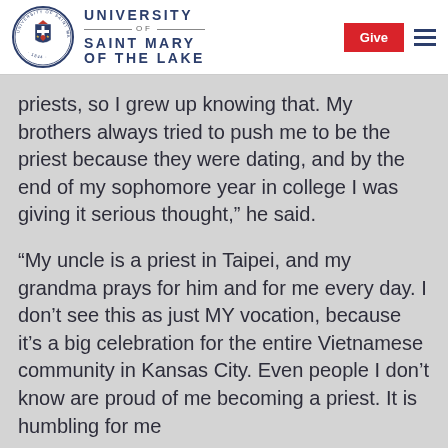University of Saint Mary of the Lake
priests, so I grew up knowing that. My brothers always tried to push me to be the priest because they were dating, and by the end of my sophomore year in college I was giving it serious thought,” he said.
“My uncle is a priest in Taipei, and my grandma prays for him and for me every day. I don’t see this as just MY vocation, because it’s a big celebration for the entire Vietnamese community in Kansas City. Even people I don’t know are proud of me becoming a priest. It is humbling for me